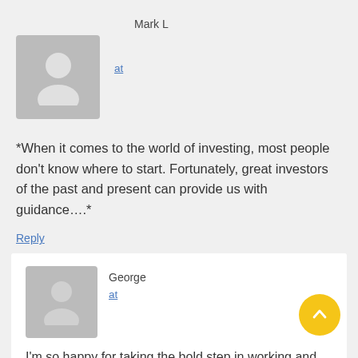Mark L
at
*When it comes to the world of investing, most people don't know where to start. Fortunately, great investors of the past and present can provide us with guidance….*
Reply
George
at
I'm so happy for taking the bold step in working and investing $2000 with Mr Jayden Mason afte week I received $6468 to my bank